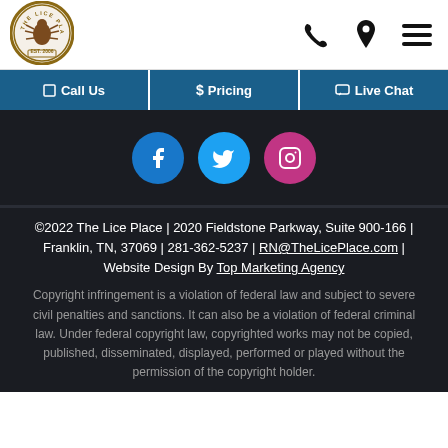[Figure (logo): The Lice Place logo - circular badge with lice insect illustration, EST. 2006]
[Figure (infographic): Header navigation icons: phone, location pin, hamburger menu]
[Figure (infographic): Nav buttons: Call Us, Pricing, Live Chat on blue background]
[Figure (infographic): Social media icons: Facebook, Twitter, Instagram on dark background]
©2022 The Lice Place | 2020 Fieldstone Parkway, Suite 900-166 | Franklin, TN, 37069 | 281-362-5237 | RN@TheLicePlace.com | Website Design By Top Marketing Agency
Copyright infringement is a violation of federal law and subject to severe civil penalties and sanctions. It can also be a violation of federal criminal law. Under federal copyright law, copyrighted works may not be copied, published, disseminated, displayed, performed or played without the permission of the copyright holder.